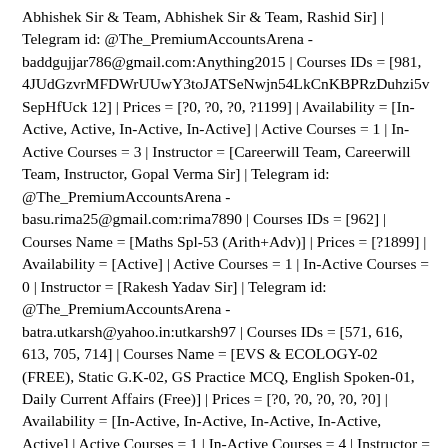Abhishek Sir & Team, Abhishek Sir & Team, Rashid Sir] | Telegram id: @The_PremiumAccountsArena - baddgujjar786@gmail.com:Anything2015 | Courses IDs = [981, 4JUdGzvrMFDWrUUwY3toJATSeNwjn54LkCnKBPRzDuhzi5vSepHfUck 12] | Prices = [?0, ?0, ?0, ?1199] | Availability = [In-Active, Active, In-Active, In-Active] | Active Courses = 1 | In-Active Courses = 3 | Instructor = [Careerwill Team, Careerwill Team, Instructor, Gopal Verma Sir] | Telegram id: @The_PremiumAccountsArena - basu.rima25@gmail.com:rima7890 | Courses IDs = [962] | Courses Name = [Maths Spl-53 (Arith+Adv)] | Prices = [?1899] | Availability = [Active] | Active Courses = 1 | In-Active Courses = 0 | Instructor = [Rakesh Yadav Sir] | Telegram id: @The_PremiumAccountsArena - batra.utkarsh@yahoo.in:utkarsh97 | Courses IDs = [571, 616, 613, 705, 714] | Courses Name = [EVS & ECOLOGY-02 (FREE), Static G.K-02, GS Practice MCQ, English Spoken-01, Daily Current Affairs (Free)] | Prices = [?0, ?0, ?0, ?0, ?0] | Availability = [In-Active, In-Active, In-Active, In-Active, Active] | Active Courses = 1 | In-Active Courses = 4 | Instructor = [Vivek Yadav Sir, Abhishek Sir & Team, Abhishek Sir & Team, Jaideep Sir Eng, Rashid Sir] | Telegram id: